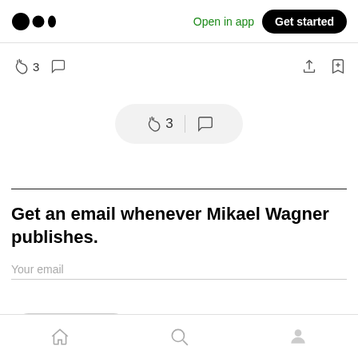Medium logo | Open in app | Get started
[Figure (screenshot): Interaction toolbar with clap icon showing 3, comment icon, share icon, and bookmark icon]
[Figure (screenshot): Floating pill widget showing clap icon with count 3, divider, and comment icon]
Get an email whenever Mikael Wagner publishes.
Your email
[Figure (screenshot): Subscribe button with mail icon, partially visible at bottom of page]
Bottom navigation bar with home, search, and profile icons